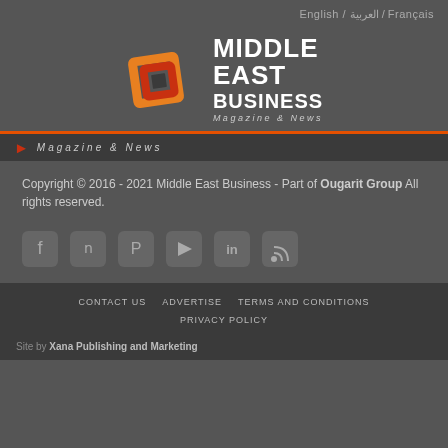English / العربية / Français
[Figure (logo): Middle East Business Magazine & News logo with orange/red geometric square icon and white bold text]
Magazine & News
Copyright © 2016 - 2021 Middle East Business - Part of Ougarit Group All rights reserved.
[Figure (infographic): Social media icons: Facebook, Twitter, Pinterest, YouTube, LinkedIn, RSS]
CONTACT US   ADVERTISE   TERMS AND CONDITIONS   PRIVACY POLICY
Site by Xana Publishing and Marketing